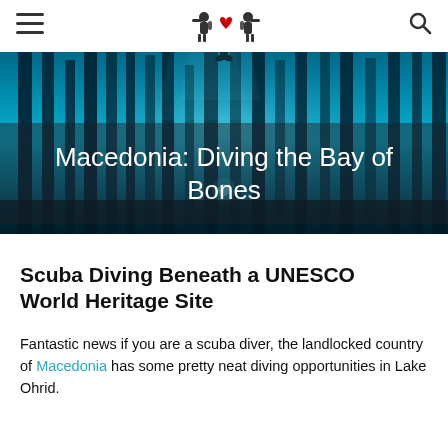≡  [logo: two divers with heart]  🔍
[Figure (photo): Underwater scene of Lake Ohrid showing a scuba diver silhouette among tall wooden pillar structures, lit by teal/cyan bioluminescent light, creating a mystical underwater forest effect]
Macedonia: Diving the Bay of Bones
Scuba Diving Beneath a UNESCO World Heritage Site
Fantastic news if you are a scuba diver, the landlocked country of Macedonia has some pretty neat diving opportunities in Lake Ohrid.